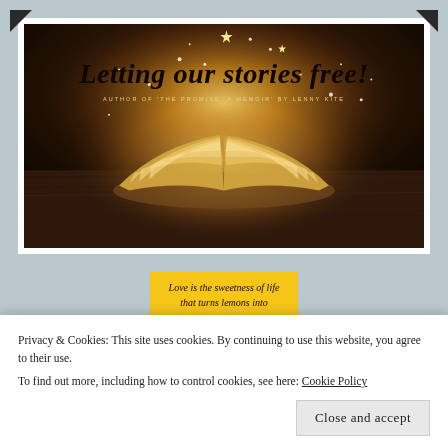[Figure (illustration): Banner image showing an open glowing book with magical light and sparkles against a dark wooden background. Text overlay reads 'Letting our stories free!' with subtitle 'AUTHOR OF THE PROMISE, A MEMOIR BY LENNY KITE']
Love is the sweetness of life that turns lemons into
Privacy & Cookies: This site uses cookies. By continuing to use this website, you agree to their use.
To find out more, including how to control cookies, see here: Cookie Policy
Close and accept